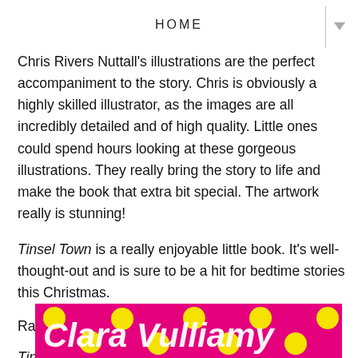HOME
Chris Rivers Nuttall's illustrations are the perfect accompaniment to the story. Chris is obviously a highly skilled illustrator, as the images are all incredibly detailed and of high quality. Little ones could spend hours looking at these gorgeous illustrations. They really bring the story to life and make the book that extra bit special. The artwork really is stunning!
Tinsel Town is a really enjoyable little book. It's well-thought-out and is sure to be a hit for bedtime stories this Christmas.
Rating: 4 stars
Tinsel Town is available to buy now.
If you like the sound of this book, you might also enjoy...
[Figure (photo): Partial view of a book cover with bright pink background, yellow polka dots, and white stylized text partially visible]